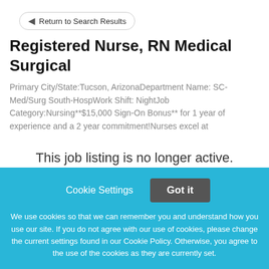Return to Search Results
Registered Nurse, RN Medical Surgical
Primary City/State:Tucson, ArizonaDepartment Name: SC-Med/Surg South-HospWork Shift: NightJob Category:Nursing**$15,000 Sign-On Bonus** for 1 year of experience and a 2 year commitment!Nurses excel at
This job listing is no longer active.
Cookie Settings
Got it
We use cookies so that we can remember you and understand how you use our site. If you do not agree with our use of cookies, please change the current settings found in our Cookie Policy. Otherwise, you agree to the use of the cookies as they are currently set.